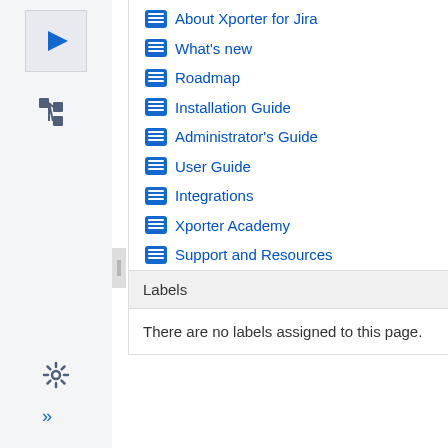[Figure (screenshot): Sidebar with play button icon, tree/hierarchy icon, settings gear icon, and double-chevron expand icon]
About Xporter for Jira
What's new
Roadmap
Installation Guide
Administrator's Guide
User Guide
Integrations
Xporter Academy
Support and Resources
Security Advisories
Show all...
Labels
There are no labels assigned to this page.